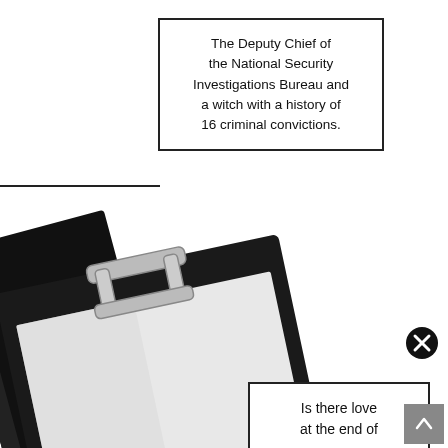The Deputy Chief of the National Security Investigations Bureau and a witch with a history of 16 criminal convictions.
[Figure (illustration): A black clipboard with metal clip, tilted at an angle, shown from the front. The clipboard holds a blank white sheet of paper. A black folder/binder is visible behind the clipboard on the left side.]
Is there love at the end of